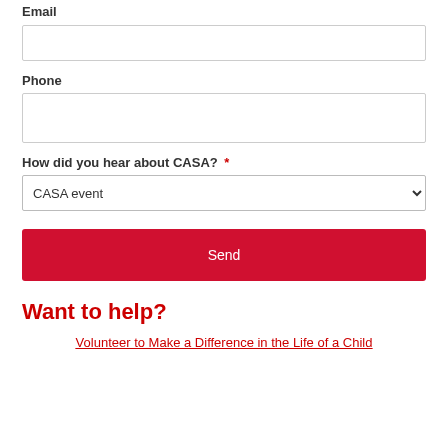Email
(email input field)
Phone
(phone input field)
How did you hear about CASA? *
CASA event (dropdown)
Send
Want to help?
Volunteer to Make a Difference in the Life of a Child